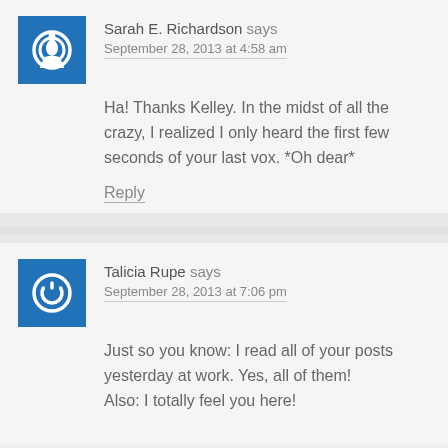Sarah E. Richardson says
September 28, 2013 at 4:58 am
Ha! Thanks Kelley. In the midst of all the crazy, I realized I only heard the first few seconds of your last vox. *Oh dear*
Reply
Talicia Rupe says
September 28, 2013 at 7:06 pm
Just so you know: I read all of your posts yesterday at work. Yes, all of them!
Also: I totally feel you here!